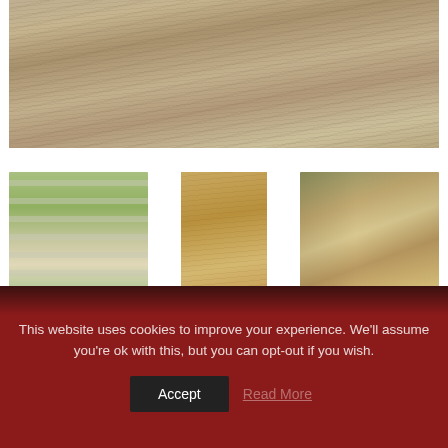[Figure (photo): Close-up of wood grain texture in beige/tan tones, large horizontal image at top of page]
[Figure (photo): Outdoor garden path with rectangular concrete/stone stepping tiles on green grass]
[Figure (photo): Close-up of wood grain texture in warm golden/brown tones, tall vertical tile]
[Figure (photo): Modern outdoor covered patio/deck with wood flooring and lounge furniture]
This website uses cookies to improve your experience. We'll assume you're ok with this, but you can opt-out if you wish.
Accept
Read More